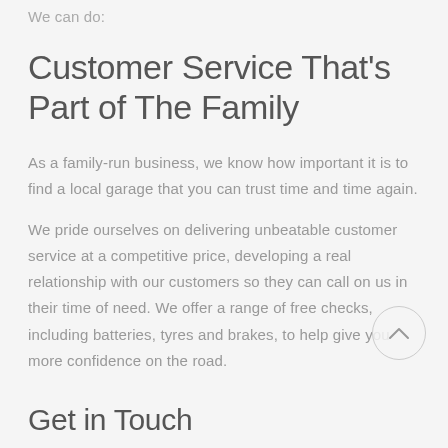we can do:
Customer Service That's Part of The Family
As a family-run business, we know how important it is to find a local garage that you can trust time and time again.
We pride ourselves on delivering unbeatable customer service at a competitive price, developing a real relationship with our customers so they can call on us in their time of need. We offer a range of free checks, including batteries, tyres and brakes, to help give you more confidence on the road.
Get in Touch
If you have any questions about what we